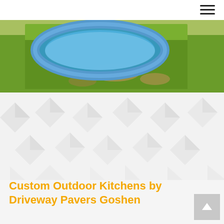[Figure (photo): Outdoor backyard photo showing a blue inflatable kiddie pool on green grass with some brown patches]
[Figure (illustration): Decorative geometric diamond/arrow pattern background in light grey tones]
Custom Outdoor Kitchens by Driveway Pavers Goshen